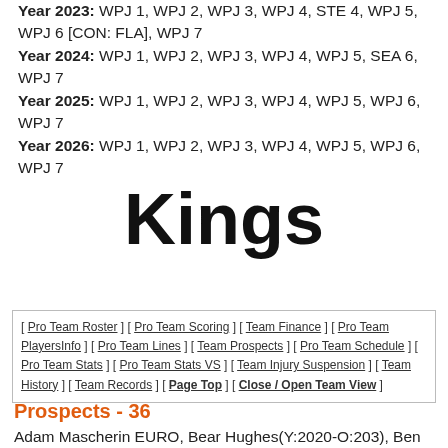Year 2023: WPJ 1, WPJ 2, WPJ 3, WPJ 4, STE 4, WPJ 5, WPJ 6 [CON: FLA], WPJ 7
Year 2024: WPJ 1, WPJ 2, WPJ 3, WPJ 4, WPJ 5, SEA 6, WPJ 7
Year 2025: WPJ 1, WPJ 2, WPJ 3, WPJ 4, WPJ 5, WPJ 6, WPJ 7
Year 2026: WPJ 1, WPJ 2, WPJ 3, WPJ 4, WPJ 5, WPJ 6, WPJ 7
Kings
[ Pro Team Roster ] [ Pro Team Scoring ] [ Team Finance ] [ Pro Team PlayersInfo ] [ Pro Team Lines ] [ Team Prospects ] [ Pro Team Schedule ] [ Pro Team Stats ] [ Pro Team Stats VS ] [ Team Injury Suspension ] [ Team History ] [ Team Records ] [ Page Top ] [ Close / Open Team View ]
Prospects - 36
Adam Mascherin EURO, Bear Hughes(Y:2020-O:203), Ben Meehan(Y:2020-O:141), Brennan Othmann(Y:2021-O:20),